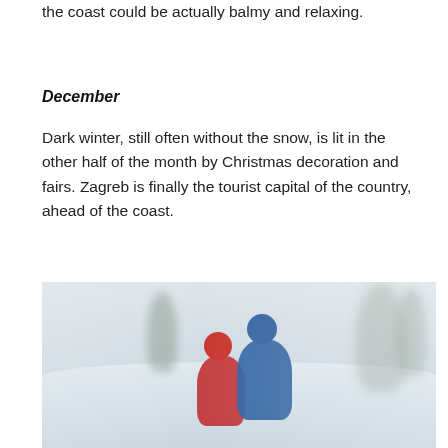the coast could be actually balmy and relaxing.
December
Dark winter, still often without the snow, is lit in the other half of the month by Christmas decoration and fairs. Zagreb is finally the tourist capital of the country, ahead of the coast.
[Figure (photo): Two children sledding down a snow-covered hill in winter, with blurred trees in the background suggesting motion. One child wears a red hat and jacket, the other wears a blue jacket.]